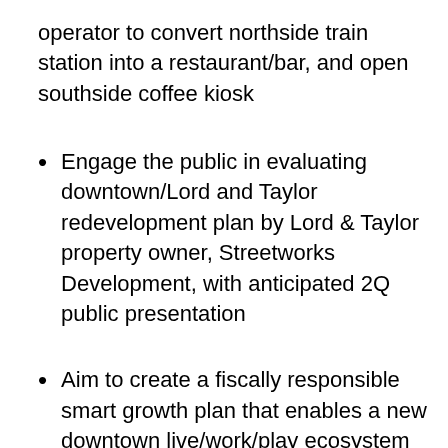operator to convert northside train station into a restaurant/bar, and open southside coffee kiosk
Engage the public in evaluating downtown/Lord and Taylor redevelopment plan by Lord & Taylor property owner, Streetworks Development, with anticipated 2Q public presentation
Aim to create a fiscally responsible smart growth plan that enables a new downtown live/work/play ecosystem with improved streetscapes, vibrant public gathering spaces, and